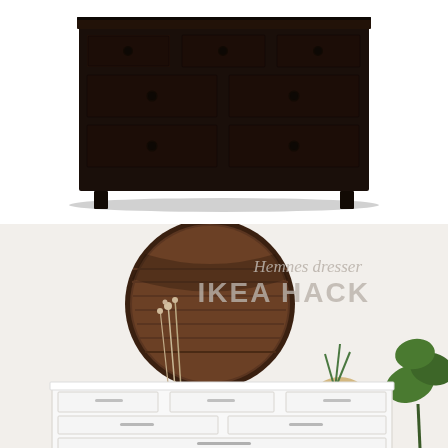[Figure (photo): Dark brown/black IKEA HEMNES 8-drawer dresser with round knobs, shown on white background from product photo]
[Figure (photo): Styled bedroom scene showing white IKEA HEMNES dresser hacked with silver bar pulls, with large round dark wood mirror, dried floral stems in vase, potted plants, and overlaid text reading 'Hemnes dresser IKEA HACK']